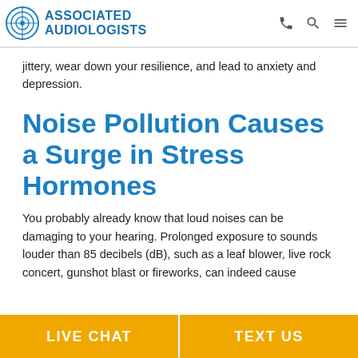ASSOCIATED AUDIOLOGISTS
jittery, wear down your resilience, and lead to anxiety and depression.
Noise Pollution Causes a Surge in Stress Hormones
You probably already know that loud noises can be damaging to your hearing. Prolonged exposure to sounds louder than 85 decibels (dB), such as a leaf blower, live rock concert, gunshot blast or fireworks, can indeed cause
LIVE CHAT   TEXT US